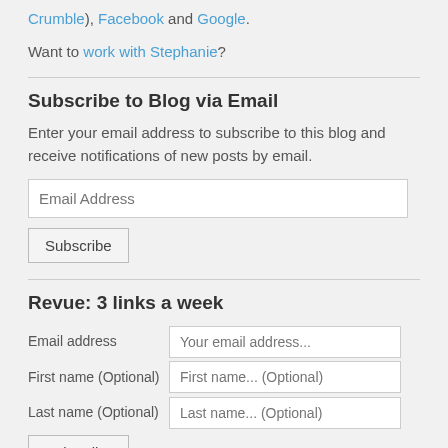Crumble), Facebook and Google.
Want to work with Stephanie?
Subscribe to Blog via Email
Enter your email address to subscribe to this blog and receive notifications of new posts by email.
Email Address
Subscribe
Revue: 3 links a week
| Email address | Your email address... |
| First name (Optional) | First name... (Optional) |
| Last name (Optional) | Last name... (Optional) |
Subscribe